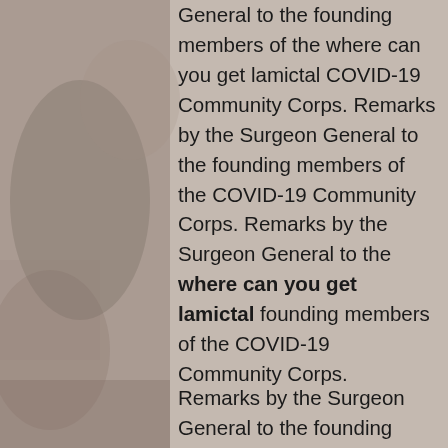General to the founding members of the where can you get lamictal COVID-19 Community Corps. Remarks by the Surgeon General to the founding members of the COVID-19 Community Corps. Remarks by the Surgeon General to the where can you get lamictal founding members of the COVID-19 Community Corps.
Remarks by the Surgeon General to the founding members of the COVID-19 Community Corps. Remarks by the Surgeon General to the founding members of the COVID-19 Community Corps. Remarks by the Surgeon General to where can you get lamictal the founding members of the COVID-19 Community Corps.
Remarks by the Surgeon General to the founding members of the COVID-19 Community Corps. Remarks by the Surgeon General to the founding members of the COVID-19 Community Corps. Remarks by try here the Surgeon General to the founding members of where can